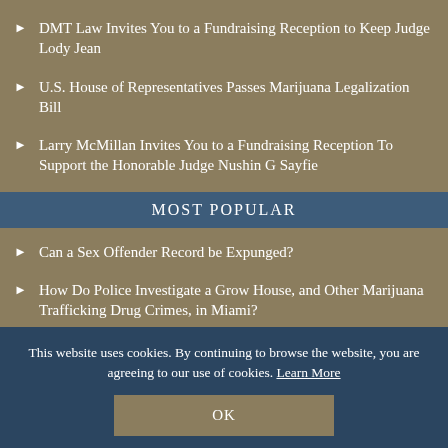DMT Law Invites You to a Fundraising Reception to Keep Judge Lody Jean
U.S. House of Representatives Passes Marijuana Legalization Bill
Larry McMillan Invites You to a Fundraising Reception To Support the Honorable Judge Nushin G Sayfie
MOST POPULAR
Can a Sex Offender Record be Expunged?
How Do Police Investigate a Grow House, and Other Marijuana Trafficking Drug Crimes, in Miami?
How Serious Are Solicitation of Prostitution Charges in the State of Florida?
ARCHIVES
This website uses cookies. By continuing to browse the website, you are agreeing to our use of cookies. Learn More
OK